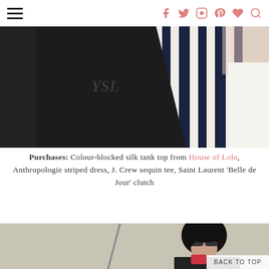Navigation header with hamburger menu and social icons (f, twitter, instagram, pinterest, heart, search)
[Figure (photo): Close-up photo of fashion items including a black patent leather Saint Laurent YSL clutch bag held over a navy and white striped dress fabric, with a white garment visible at right]
Purchases: Colour-blocked silk tank top from House of Lolo, Anthropologie striped dress, J. Crew sequin tee, Saint Laurent 'Belle de Jour' clutch
[Figure (photo): Partial photo of a woman with dark hair wearing sunglasses and a dark jacket, appearing to be a mirror selfie or street photo, cropped at bottom of page]
BACK TO TOP